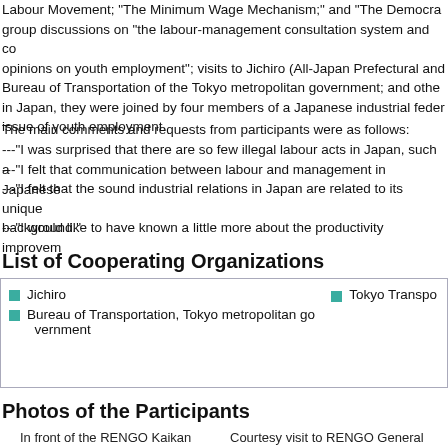Labour Movement; "The Minimum Wage Mechanism;" and "The Democra... group discussions on "the labour-management consultation system and co... opinions on youth employment"; visits to Jichiro (All-Japan Prefectural and... Bureau of Transportation of the Tokyo metropolitan government; and othe... in Japan, they were joined by four members of a Japanese industrial feder... issue of youth employment.
The main comments and requests from participants were as follows:
---"I was surprised that there are so few illegal labour acts in Japan, such a...
---"I felt that communication between labour and management in Japanese...
---"I felt that the sound industrial relations in Japan are related to its unique... background."
---"I would like to have known a little more about the productivity improvem...
List of Cooperating Organizations
| Jichiro | Tokyo Transpo... |
| Bureau of Transportation, Tokyo metropolitan government |  |
Photos of the Participants
In front of the RENGO Kaikan
Courtesy visit to RENGO General...